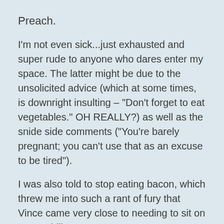Preach.
I'm not even sick...just exhausted and super rude to anyone who dares enter my space. The latter might be due to the unsolicited advice (which at some times, is downright insulting – "Don't forget to eat vegetables." OH REALLY?) as well as the snide side comments ("You're barely pregnant; you can't use that as an excuse to be tired").
I was also told to stop eating bacon, which threw me into such a rant of fury that Vince came very close to needing to sit on me to chill out.
★ Like